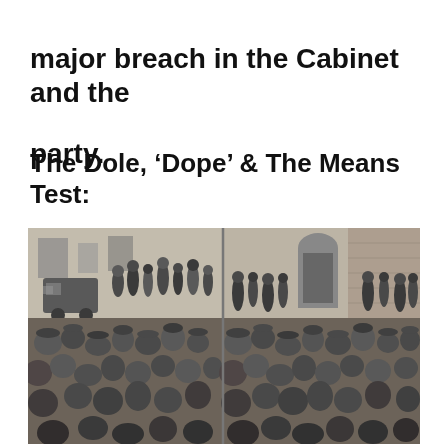major breach in the Cabinet and the party.
The Dole, ‘Dope’ & The Means Test:
[Figure (photo): A black and white historical photograph showing a large crowd of men gathered outside buildings, likely in the 1920s or 1930s. The men are wearing caps and dark coats. There appears to be a police vehicle on the left side. The image is split into two panels showing the same or similar scenes of the crowd.]